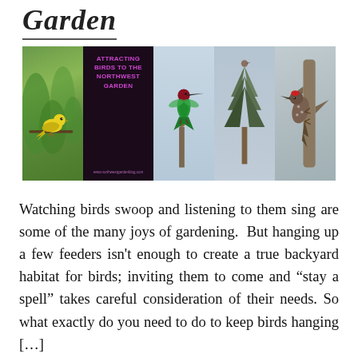Garden
[Figure (photo): A collage of four bird photos arranged in a 2x2 grid. Top-left: a yellow bird perched on green foliage. Top-right (black background): text reading 'ATTRACTING BIRDS TO THE NORTHWEST GARDEN' with a URL below. Bottom-left: an Anna's hummingbird with iridescent green and red plumage. Bottom-right top: a small bird perched on top of a conifer tree against a light blue sky. Far right: a woodpecker (Northern Flicker) clinging to a dead tree branch.]
Watching birds swoop and listening to them sing are some of the many joys of gardening.  But hanging up a few feeders isn't enough to create a true backyard habitat for birds; inviting them to come and “stay a spell” takes careful consideration of their needs. So what exactly do you need to do to keep birds hanging […]